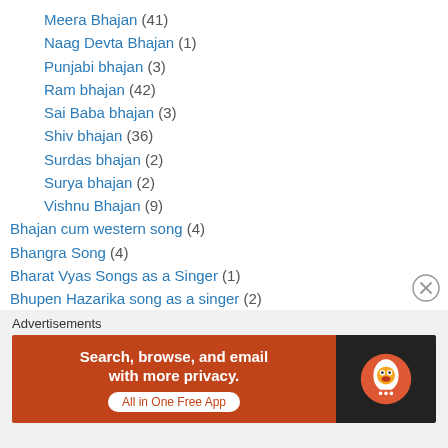Meera Bhajan (41)
Naag Devta Bhajan (1)
Punjabi bhajan (3)
Ram bhajan (42)
Sai Baba bhajan (3)
Shiv bhajan (36)
Surdas bhajan (2)
Surya bhajan (2)
Vishnu Bhajan (9)
Bhajan cum western song (4)
Bhangra Song (4)
Bharat Vyas Songs as a Singer (1)
Bhupen Hazarika song as a singer (2)
Bhupinder Singh songs (70)
Bhupinder Singh solo (28)
Bibbo Songs (4)
Advertisements
[Figure (other): DuckDuckGo advertisement banner: Search, browse, and email with more privacy. All in One Free App.]